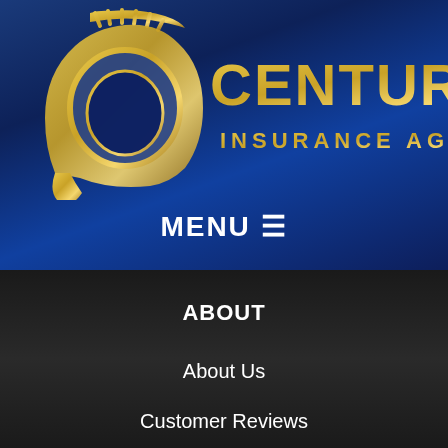[Figure (logo): Centurion Insurance Agency LLC logo with golden Roman centurion helmet icon on dark blue gradient background, with gold text reading CENTURION INSURANCE AGENCY LLC]
MENU ≡
ABOUT
About Us
Customer Reviews